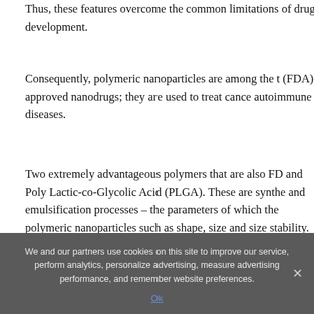Thus, these features overcome the common limitations of drug development.
Consequently, polymeric nanoparticles are among the top (FDA)-approved nanodrugs; they are used to treat cancer and autoimmune diseases.
Two extremely advantageous polymers that are also FDA-approved and Poly Lactic-co-Glycolic Acid (PLGA). These are synthesized via and emulsification processes – the parameters of which determine the polymeric nanoparticles such as shape, size and size distribution, stability. These determine the therapeutic utility of the nanoparticles.
We and our partners use cookies on this site to improve our service, perform analytics, personalize advertising, measure advertising performance, and remember website preferences.